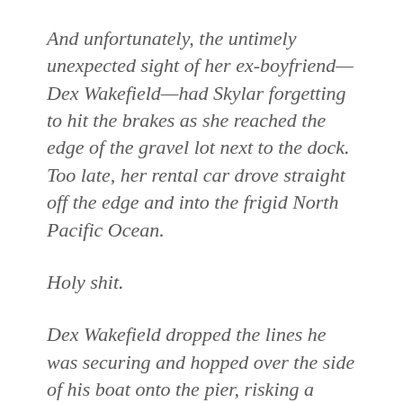And unfortunately, the untimely unexpected sight of her ex-boyfriend—Dex Wakefield—had Skylar forgetting to hit the brakes as she reached the edge of the gravel lot next to the dock. Too late, her rental car drove straight off the edge and into the frigid North Pacific Ocean.
Holy shit.
Dex Wakefield dropped the lines he was securing and hopped over the side of his boat onto the pier, risking a sprained ankle at the ten-foot drop. He hurried at a breakneck pace toward where the small Fiat bobbed among